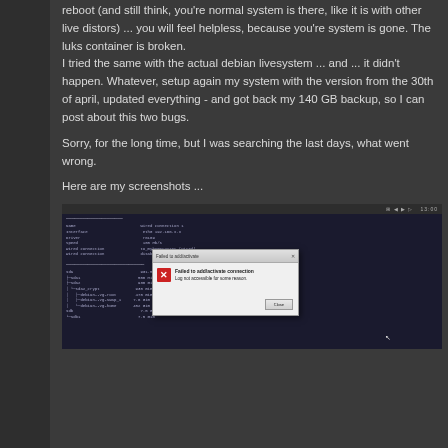reboot (and still think, you're normal system is there, like it is with other live distors) ... you will feel helpless, because you're system is gone. The luks container is broken.
I tried the same with the actual debian livesystem ... and ... it didn't happen. Whatever, setup again my system with the version from the 30th of april, updated everything - and got back my 140 GB backup, so I can post about this two bugs.
Sorry, for the long time, but I was searching the last days, what went wrong.
Here are my screenshots ...
[Figure (screenshot): A screenshot of a dark Linux system information screen with a 'Failed to add/activate connection' error dialog overlaid on top, showing 'Log not accessible for some reason.' message with a Close button.]